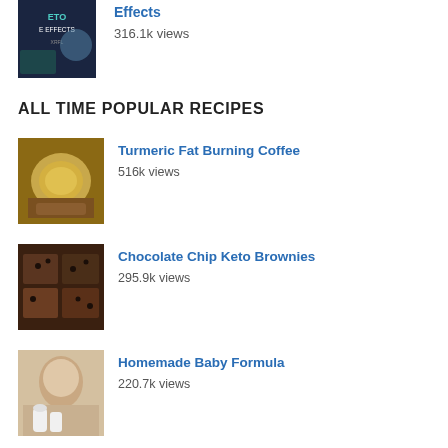[Figure (photo): Thumbnail image of a keto side effects book/article with dark background and green text]
Effects
316.1k views
ALL TIME POPULAR RECIPES
[Figure (photo): Thumbnail of golden turmeric coffee in a mug]
Turmeric Fat Burning Coffee
516k views
[Figure (photo): Thumbnail of chocolate chip keto brownies on a surface]
Chocolate Chip Keto Brownies
295.9k views
[Figure (photo): Thumbnail of a smiling woman with baby formula bottles]
Homemade Baby Formula
220.7k views
[Figure (photo): Thumbnail of sliced keto garlic and rosemary cauliflower bread]
Keto Garlic and Rosemary Cauliflower Bread
193.3k views